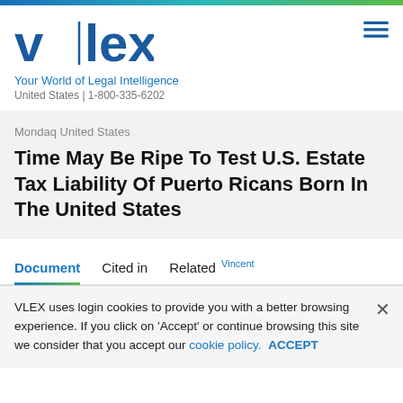[Figure (logo): vlex logo with vertical bar between v and lex, in dark blue]
Your World of Legal Intelligence
United States | 1-800-335-6202
Mondaq United States
Time May Be Ripe To Test U.S. Estate Tax Liability Of Puerto Ricans Born In The United States
Document   Cited in   Related Vincent
VLEX uses login cookies to provide you with a better browsing experience. If you click on 'Accept' or continue browsing this site we consider that you accept our cookie policy. ACCEPT